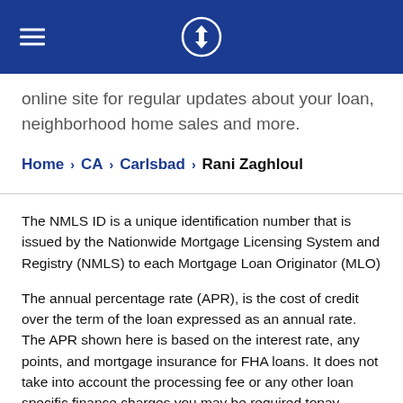Chase logo header with navigation
online site for regular updates about your loan, neighborhood home sales and more.
Home > CA > Carlsbad > Rani Zaghloul
The NMLS ID is a unique identification number that is issued by the Nationwide Mortgage Licensing System and Registry (NMLS) to each Mortgage Loan Originator (MLO)
The annual percentage rate (APR), is the cost of credit over the term of the loan expressed as an annual rate. The APR shown here is based on the interest rate, any points, and mortgage insurance for FHA loans. It does not take into account the processing fee or any other loan specific finance charges you may be required topay. Rates are estimated by state and actual rates may vary.